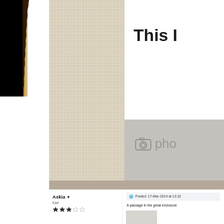[Figure (screenshot): Screenshot of a web forum page showing a decorative burned/torn paper edge on the left with a beige linen-textured sidebar, a white content area on the right showing partial bold heading text 'This I', a gray photo upload button area with camera icon and 'pho' text, a tan divider bar, and a comment section below with username 'Askia', rank 'Earl', star rating (2.5 stars), a post timestamp 'Posted: 17-Mar-2014 at 13:32', and post text 'A passage in the great enclosure'.]